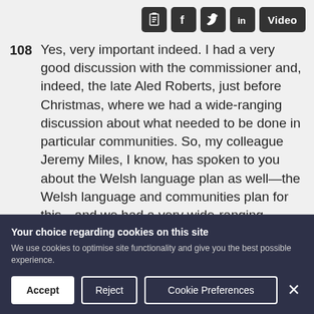[Figure (other): Toolbar with clipboard icon, Facebook icon, Twitter icon, LinkedIn icon, and Video button — all dark/charcoal rounded rectangles]
108 Yes, very important indeed. I had a very good discussion with the commissioner and, indeed, the late Aled Roberts, just before Christmas, where we had a wide-ranging discussion about what needed to be done in particular communities. So, my colleague Jeremy Miles, I know, has spoken to you about the Welsh language plan as well—the Welsh language and communities plan for this—and we had a very wide-ranging discussion. They fed back the views
Your choice regarding cookies on this site
We use cookies to optimise site functionality and give you the best possible experience.